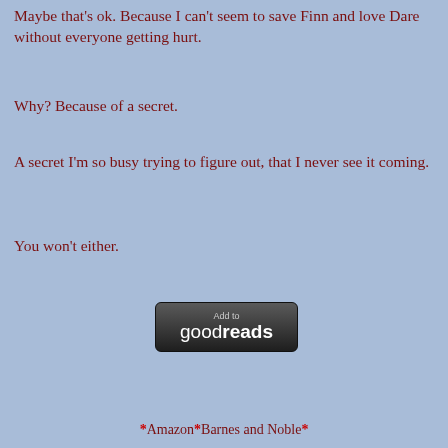Maybe that's ok. Because I can't seem to save Finn and love Dare without everyone getting hurt.
Why? Because of a secret.
A secret I'm so busy trying to figure out, that I never see it coming.
You won't either.
[Figure (logo): Add to goodreads button — dark rounded rectangle with 'Add to' in small gray text above 'goodreads' in large white bold text]
*Amazon*Barnes and Noble*